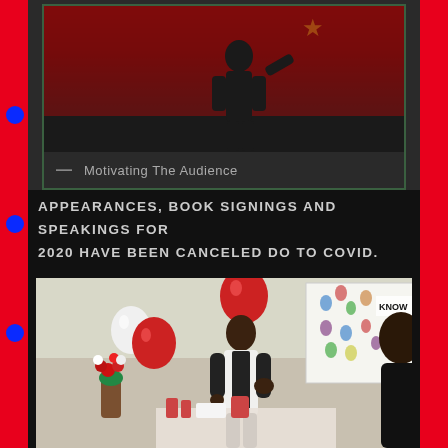[Figure (photo): Person standing on stage with red curtain backdrop and yellow star, speaking or performing]
— Motivating The Audience
APPEARANCES, BOOK SIGNINGS AND SPEAKINGS FOR 2020 HAVE BEEN CANCELED DO TO COVID.
[Figure (photo): Man in formal attire at an event with balloons, flowers, and a colorful handprint display board in the background]